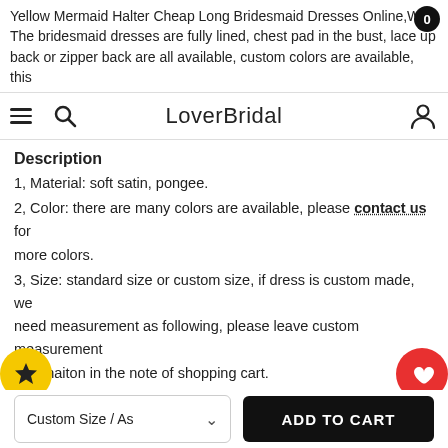Yellow Mermaid Halter Cheap Long Bridesmaid Dresses Online,WE... The bridesmaid dresses are fully lined, chest pad in the bust, lace up back or zipper back are all available, custom colors are available, this
LoverBridal
Description
1, Material: soft satin, pongee.
2, Color: there are many colors are available, please contact us for more colors.
3, Size: standard size or custom size, if dress is custom made, we need measurement as following, please leave custom measurement informaiton in the note of shopping cart.
    bust______ cm/inch
    waist______cm/inch
    hip:_______cm/inch
    shoulder to shoulder :_______cm/inch (measured from back of shoulder)
    shoulder to bust :________cm/inch (measured from middle shoulder to nipple)
Custom Size / As
ADD TO CART